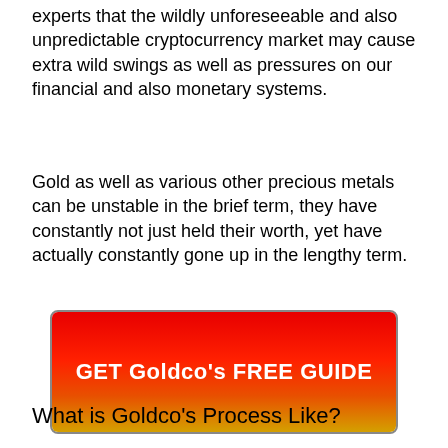experts that the wildly unforeseeable and also unpredictable cryptocurrency market may cause extra wild swings as well as pressures on our financial and also monetary systems.
Gold as well as various other precious metals can be unstable in the brief term, they have constantly not just held their worth, yet have actually constantly gone up in the lengthy term.
[Figure (other): A red-to-gold gradient button with bold white text reading 'GET Goldco's FREE GUIDE']
What is Goldco's Process Like?